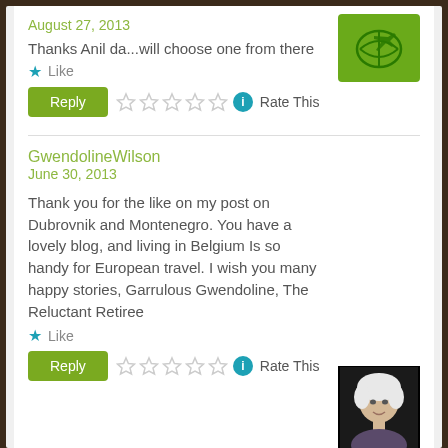August 27, 2013
Thanks Anil da...will choose one from there
Like
Reply  Rate This
GwendolineWilson
June 30, 2013
Thank you for the like on my post on Dubrovnik and Montenegro. You have a lovely blog, and living in Belgium Is so handy for European travel. I wish you many happy stories, Garrulous Gwendoline, The Reluctant Retiree
Like
Reply  Rate This